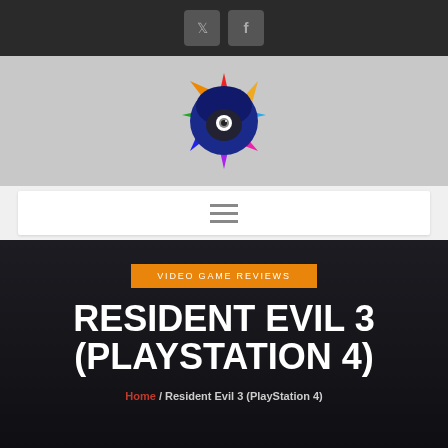Social icons header bar (Twitter, Facebook)
[Figure (logo): Gaming website logo - blue hooded character with colorful spiky aura on grey background]
[Figure (screenshot): Navigation bar with hamburger menu icon on white background]
VIDEO GAME REVIEWS
RESIDENT EVIL 3 (PLAYSTATION 4)
Home / Resident Evil 3 (PlayStation 4)